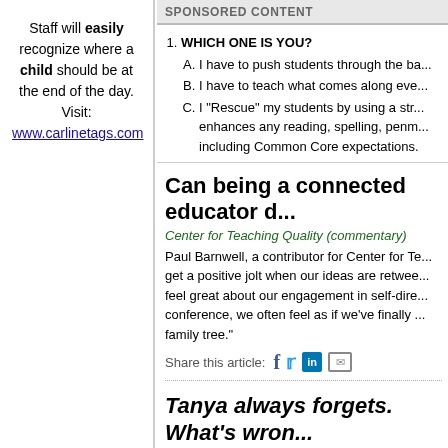Staff will easily recognize where a child should be at the end of the day. Visit: www.carlinetags.com
SPONSORED CONTENT
1. WHICH ONE IS YOU?
A. I have to push students through the ba...
B. I have to teach what comes along eve...
C. I "Rescue" my students by using a str... enhances any reading, spelling, penm... including Common Core expectations.
Can being a connected educator d...
Center for Teaching Quality (commentary)
Paul Barnwell, a contributor for Center for Te... get a positive jolt when our ideas are retwee... feel great about our engagement in self-dire... conference, we often feel as if we've finally ... family tree."
Share this article:
Tanya always forgets. What's wron...
By: Howard Margolis
On Friday, Tanya's teacher sighed sorrowful... words she knew on Monday. I spent 30 solic... This always happens. What's wrong with he... nothing. Maybe she just needs the right kin... can you increase Tanya's chances of remem...